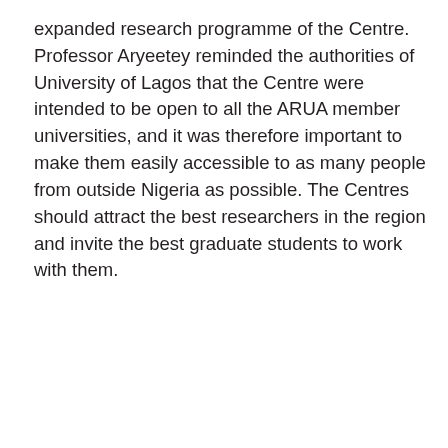expanded research programme of the Centre. Professor Aryeetey reminded the authorities of University of Lagos that the Centre were intended to be open to all the ARUA member universities, and it was therefore important to make them easily accessible to as many people from outside Nigeria as possible. The Centres should attract the best researchers in the region and invite the best graduate students to work with them.